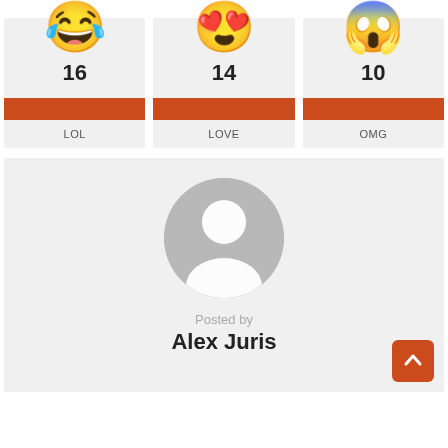[Figure (infographic): Three emoji reaction cards showing LOL (laughing emoji, count 16), LOVE (heart-eyes emoji, count 14), OMG (shocked emoji, count 10), each with an orange bar and label below]
[Figure (infographic): User profile card with a grey avatar circle silhouette, text 'Posted by' and bold name 'Alex Juris', with an orange scroll-up button in bottom right]